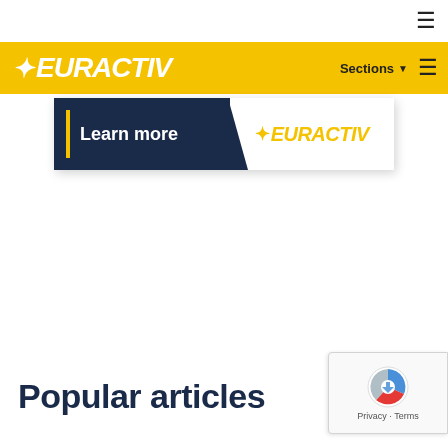≡
[Figure (logo): EURACTIV logo in white text on yellow navigation bar, with Sections dropdown and hamburger menu]
[Figure (screenshot): EURACTIV advertisement banner: dark navy left side with yellow vertical bar and 'Learn more' text, white right side with EURACTIV logo in yellow]
Popular articles